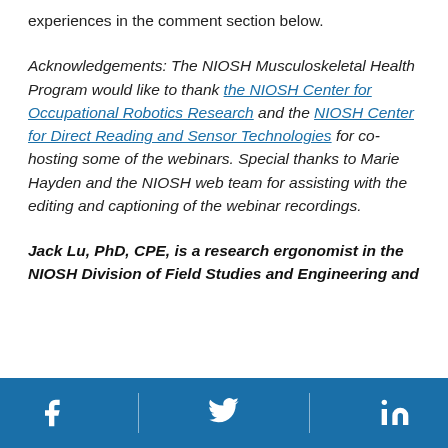experiences in the comment section below.
Acknowledgements: The NIOSH Musculoskeletal Health Program would like to thank the NIOSH Center for Occupational Robotics Research and the NIOSH Center for Direct Reading and Sensor Technologies for co-hosting some of the webinars. Special thanks to Marie Hayden and the NIOSH web team for assisting with the editing and captioning of the webinar recordings.
Jack Lu, PhD, CPE, is a research ergonomist in the NIOSH Division of Field Studies and Engineering and
[Facebook icon] [Twitter icon] [LinkedIn icon]